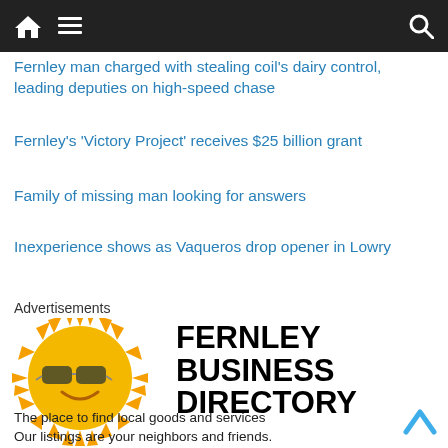[Figure (screenshot): Navigation bar with home icon, hamburger menu, and search icon on dark background]
Fernley man charged with stealing coil's dairy control, leading deputies on high-speed chase
Fernley's 'Victory Project' receives $25 billion grant
Family of missing man looking for answers
Inexperience shows as Vaqueros drop opener in Lowry
Advertisements
[Figure (illustration): Fernley Business Directory advertisement with sun mascot wearing sunglasses and bold text]
The place to find local goods and services
Our listings are your neighbors and friends.
Being spread out over miles it's hard sometimes